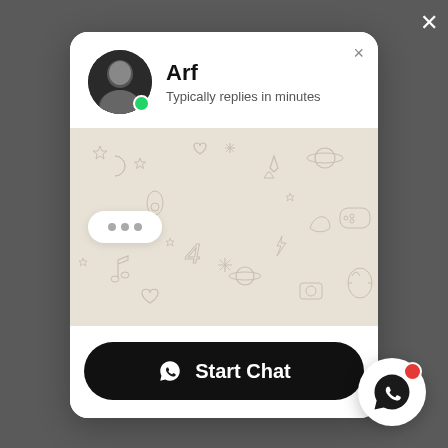[Figure (screenshot): WhatsApp chat widget popup showing contact 'Arf' with profile photo, green online dot, subtitle 'Typically replies in minutes', a chat background area with typing bubble (three dots), a 'Start Chat' button, and a WhatsApp FAB button with red badge in bottom right corner.]
Arf
Typically replies in minutes
Start Chat